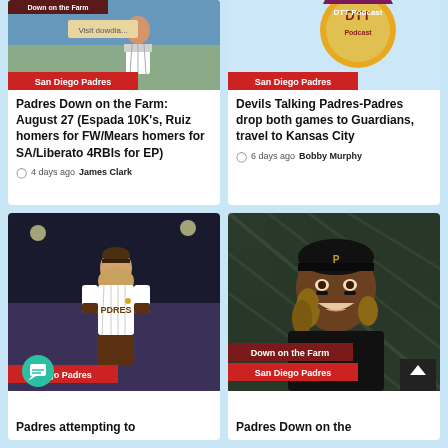[Figure (photo): Baseball player at stadium with 'San Diego Padres' and 'Down on the Farm' tags]
[Figure (photo): DTT Podcast logo/thumbnail with 'San Diego Padres' tag]
Padres Down on the Farm: August 27 (Espada 10K's, Ruiz homers for FW/Mears homers for SA/Liberato 4RBIs for EP)
4 days ago  James Clark
Devils Talking Padres-Padres drop both games to Guardians, travel to Kansas City
6 days ago  Bobby Murphy
[Figure (photo): Padres pitcher with long hair in white pinstripe uniform on the field, Diego Padres tag]
[Figure (photo): Smiling baseball player in black jacket and cap with dreadlocks, Down on the Farm and San Diego Padres tags]
Padres attempting to
Padres Down on the